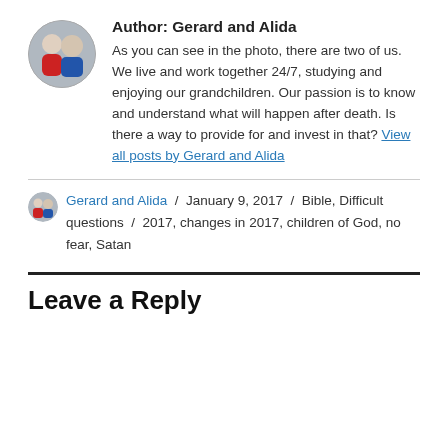Author: Gerard and Alida — As you can see in the photo, there are two of us. We live and work together 24/7, studying and enjoying our grandchildren. Our passion is to know and understand what will happen after death. Is there a way to provide for and invest in that? View all posts by Gerard and Alida
Gerard and Alida / January 9, 2017 / Bible, Difficult questions / 2017, changes in 2017, children of God, no fear, Satan
Leave a Reply